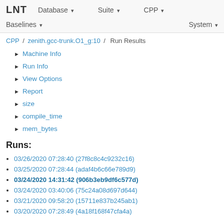LNT   Database ▾   Suite ▾   CPP ▾   Baselines ▾   System ▾
CPP / zenith.gcc-trunk.O1_g:10 / Run Results
▶ Machine Info
▶ Run Info
▶ View Options
▶ Report
▶ size
▶ compile_time
▶ mem_bytes
Runs:
03/26/2020 07:28:40 (27f8c8c4c9232c16)
03/25/2020 07:28:44 (adaf4b6c66e789d9)
03/24/2020 14:31:42 (906b3eb9df6c577d)
03/24/2020 03:40:06 (75c24a08d697d644)
03/21/2020 09:58:20 (15711e837b245ab1)
03/20/2020 07:28:49 (4a18f168f47cfa4a)